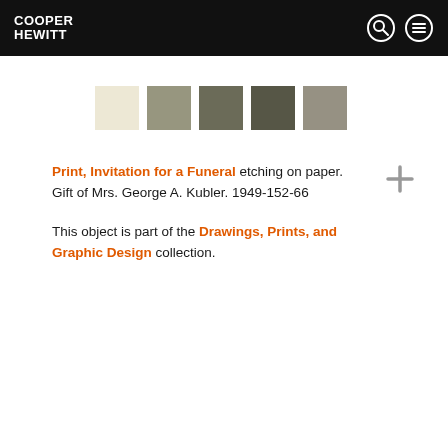COOPER HEWITT
[Figure (infographic): Five color swatches: cream/off-white, medium gray-green, darker gray-green, dark olive-gray, lighter warm gray]
Print, Invitation for a Funeral etching on paper. Gift of Mrs. George A. Kubler. 1949-152-66
This object is part of the Drawings, Prints, and Graphic Design collection.